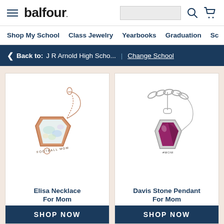balfour.
Shop My School | Class Jewelry | Yearbooks | Graduation | Sc
< Back to: J R Arnold High Scho... | Change School
[Figure (photo): Rose gold necklace with opal stone pendant engraved 'FOOTBALL MOM']
Elisa Necklace For Mom
SHOP NOW
[Figure (photo): Silver chain necklace with purple/magenta gemstone pendant engraved '#MOM']
Davis Stone Pendant For Mom
SHOP NOW